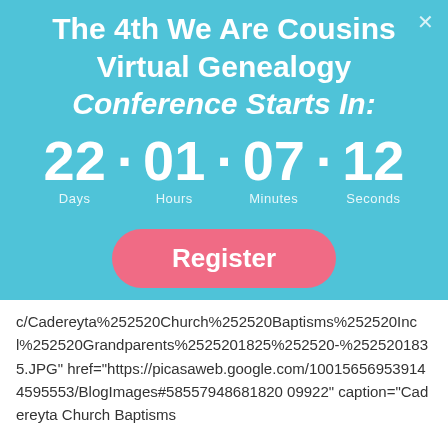The 4th We Are Cousins Virtual Genealogy Conference Starts In:
[Figure (screenshot): Countdown timer showing 22 Days, 01 Hours, 07 Minutes, 12 Seconds]
[Figure (screenshot): Register button (pink/salmon colored rounded rectangle)]
c/Cadereyta%252520Church%252520Baptisms%252520Incl%252520Grandparents%2525201825%252520-%2525201835.JPG" href="https://picasaweb.google.com/100156569539144595553/BlogImages#585579486818200 9922" caption="Cadereyta Church Baptisms